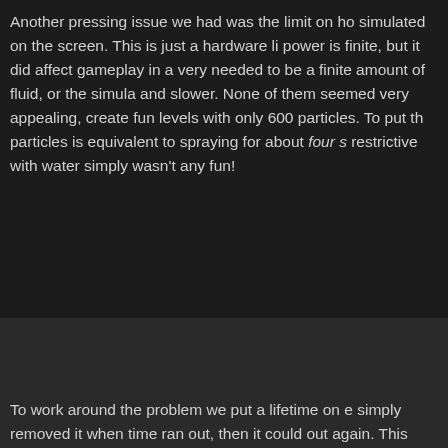Another pressing issue we had was the limit on how many particles could be simulated on the screen. This is just a hardware limitation; processing power is finite, but it did affect gameplay in a very real way. Either there needed to be a finite amount of fluid, or the simulation would get slower and slower. None of them seemed very appealing, but we found we could create fun levels with only 600 particles. To put that in perspective, 600 particles is equivalent to spraying for about four seconds. Being that restrictive with water simply wasn't any fun!
To work around the problem we put a lifetime on each particle; if we simply removed it when time ran out, then it could be continuously sprayed out again. This gave the illusion of an unlimited amount of water, while in fact only allowing four seconds of water on screen at a time. If you look carefully in the game you'll see that the fluid doesn't stay forever, but dissolves over time as if absorbed by the ground. This was a big turning point for the game and for level design! We could create more interesting levels and the game mechanic was act